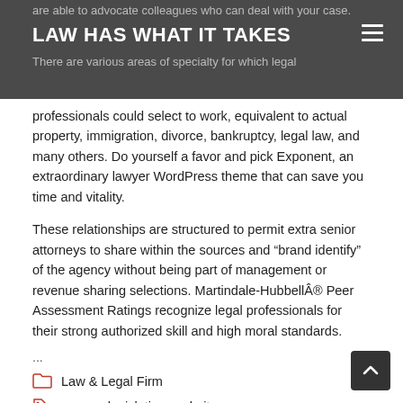are able to advocate colleagues who can deal with your case.
LAW HAS WHAT IT TAKES
There are various areas of specialty for which legal
professionals could select to work, equivalent to actual property, immigration, divorce, bankruptcy, legal law, and many others. Do yourself a favor and pick Exponent, an extraordinary lawyer WordPress theme that can save you time and vitality.
These relationships are structured to permit extra senior attorneys to share within the sources and “brand identify” of the agency without being part of management or revenue sharing selections. Martindale-HubbellÂ® Peer Assessment Ratings recognize legal professionals for their strong authorized skill and high moral standards.
...
Law & Legal Firm
agency, legislation, websites